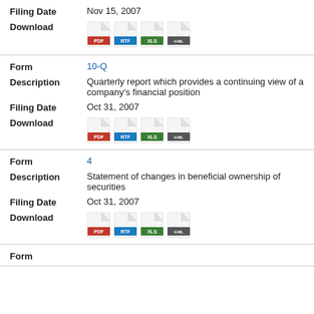Filing Date: Nov 15, 2007
Download: PDF, RTF, XLS, HTML
Form: 10-Q
Description: Quarterly report which provides a continuing view of a company's financial position
Filing Date: Oct 31, 2007
Download: PDF, RTF, XLS, HTML
Form: 4
Description: Statement of changes in beneficial ownership of securities
Filing Date: Oct 31, 2007
Download: PDF, RTF, XLS, HTML